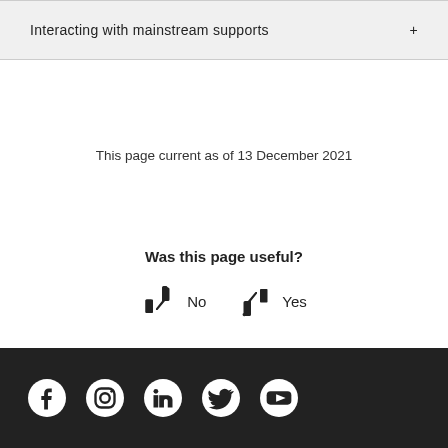Interacting with mainstream supports
This page current as of 13 December 2021
Was this page useful?
No
Yes
Facebook, Instagram, LinkedIn, Twitter, YouTube social media icons